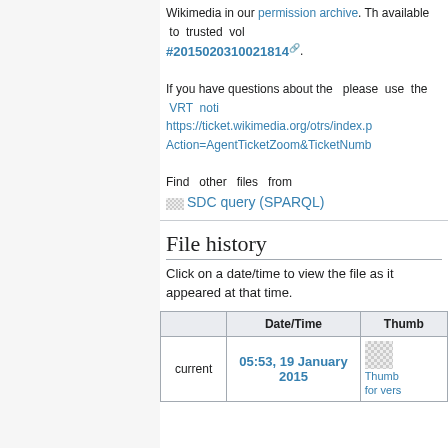Wikimedia in our permission archive. Th available to trusted vol #2015020310021814.
If you have questions about the please use the VRT noti https://ticket.wikimedia.org/otrs/index.p Action=AgentTicketZoom&TicketNumb
Find other files from
[Figure (other): SDC query (SPARQL) button/image placeholder]
File history
Click on a date/time to view the file as it appeared at that time.
|  | Date/Time | Thumb |
| --- | --- | --- |
| current | 05:53, 19 January 2015 | Thumb for vers |